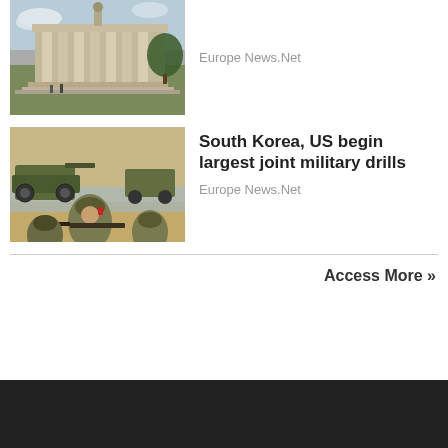[Figure (photo): Photo of a monument with columns, partially cropped at top]
Europe News.Net
[Figure (photo): Photo of soldiers in military gear during joint military drills, with armored vehicles in background]
South Korea, US begin largest joint military drills
Europe News.Net
Access More »